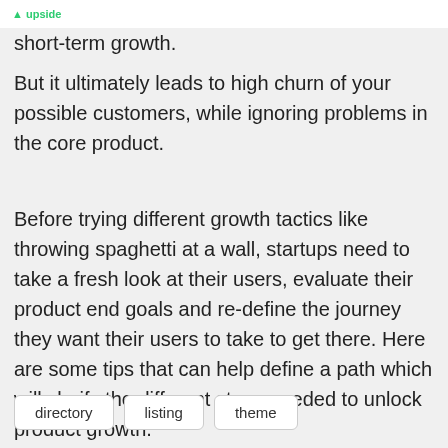short-term growth.
But it ultimately leads to high churn of your possible customers, while ignoring problems in the core product.
Before trying different growth tactics like throwing spaghetti at a wall, startups need to take a fresh look at their users, evaluate their product end goals and re-define the journey they want their users to take to get there. Here are some tips that can help define a path which will clarify the different steps needed to unlock product growth.
directory
listing
theme